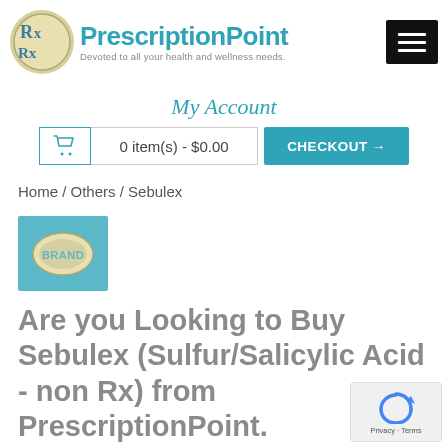PrescriptionPoint — Devoted to all your health and wellness needs.
My Account
0 item(s) - $0.00  CHECKOUT →
Home / Others / Sebulex
[Figure (logo): Brand badge — teal square with oval pill labeled BRAND]
Are you Looking to Buy Sebulex (Sulfur/Salicylic Acid - non Rx) from PrescriptionPoint.